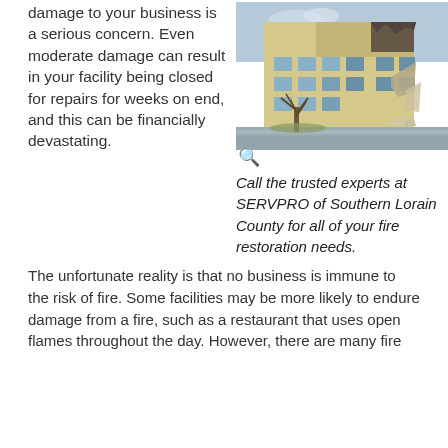damage to your business is a serious concern. Even moderate damage can result in your facility being closed for repairs for weeks on end, and this can be financially devastating.
[Figure (photo): Photo of a multi-story building with severe fire damage to upper floors, debris on the ground, flooded parking lot, and a bare tree in the foreground.]
Call the trusted experts at SERVPRO of Southern Lorain County for all of your fire restoration needs.
The unfortunate reality is that no business is immune to the risk of fire. Some facilities may be more likely to endure damage from a fire, such as a restaurant that uses open flames throughout the day. However, there are many fire